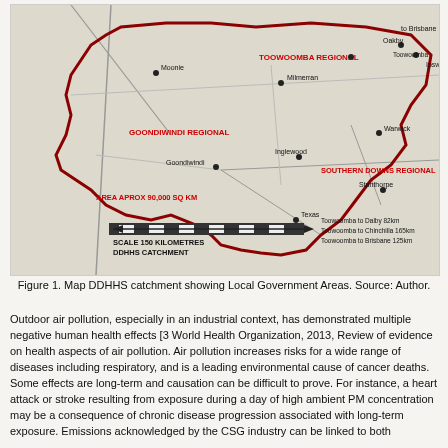[Figure (map): Map of DDHHS catchment showing Local Government Areas including Toowoomba Regional, Goondiwindi Regional, Southern Downs Regional. Shows towns: Moonie, Milmerran, Goondiwindi, Inglewood, Warwick, Stanthorpe, Texas, Dalby, Toowoomba, Ipswich, Oakey. Includes scale bar of 150 kilometres and distance annotations: Toowoomba to Dalby 82km, Toowoomba to Chinchilla 165km, Toowoomba to Brisbane 125km. Area approximately 90,000 sq km.]
Figure 1. Map DDHHS catchment showing Local Government Areas. Source: Author.
Outdoor air pollution, especially in an industrial context, has demonstrated multiple negative human health effects [3 World Health Organization, 2013, Review of evidence on health aspects of air pollution. Air pollution increases risks for a wide range of diseases including respiratory, and is a leading environmental cause of cancer deaths. Some effects are long-term and causation can be difficult to prove. For instance, a heart attack or stroke resulting from exposure during a day of high ambient PM concentration may be a consequence of chronic disease progression associated with long-term exposure. Emissions acknowledged by the CSG industry can be linked to both